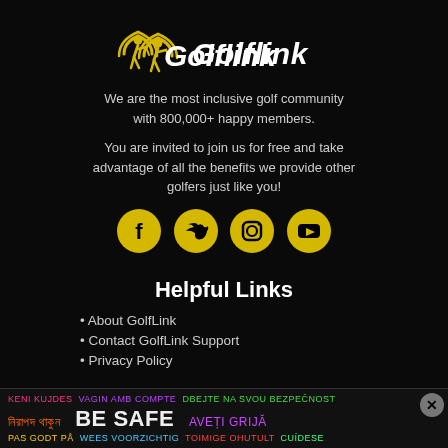[Figure (logo): GolfLink logo: yellow golfer icon with signal waves, white bold italic text 'GolfLink']
We are the most inclusive golf community with 800,000+ happy members.
You are invited to join us for free and take advantage of all the benefits we provide other golfers just like you!
[Figure (infographic): Four yellow circular social media icons: Facebook, Twitter, Instagram, YouTube]
Helpful Links
About GolfLink
Contact GolfLink Support
Privacy Policy
[Figure (infographic): Safety ad banner with multilingual 'BE SAFE' text in various colors]